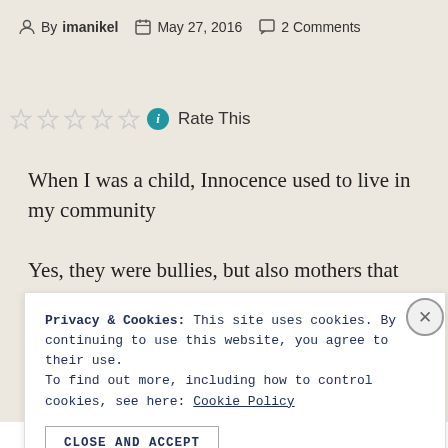By imanikel  May 27, 2016  2 Comments
Rate This
When I was a child, Innocence used to live in my community
Yes, they were bullies, but also mothers that stood up to
Privacy & Cookies: This site uses cookies. By continuing to use this website, you agree to their use. To find out more, including how to control cookies, see here: Cookie Policy
CLOSE AND ACCEPT